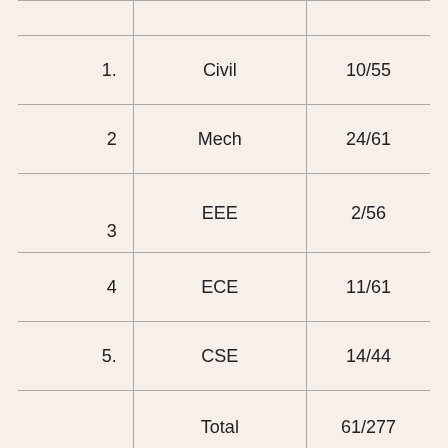|  |  |  |
| --- | --- | --- |
| 1. | Civil | 10/55 |
| 2 | Mech | 24/61 |
| 3 | EEE | 2/56 |
| 4 | ECE | 11/61 |
| 5. | CSE | 14/44 |
|  | Total | 61/277 |